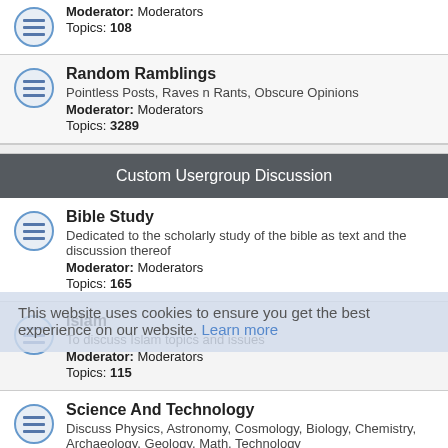Moderator: Moderators
Topics: 108
Random Ramblings
Pointless Posts, Raves n Rants, Obscure Opinions
Moderator: Moderators
Topics: 3289
Custom Usergroup Discussion
Bible Study
Dedicated to the scholarly study of the bible as text and the discussion thereof
Moderator: Moderators
Topics: 165
Islam
To discuss Islam topics and issues
Moderator: Moderators
Topics: 115
Science And Technology
Discuss Physics, Astronomy, Cosmology, Biology, Chemistry, Archaeology, Geology, Math, Technology